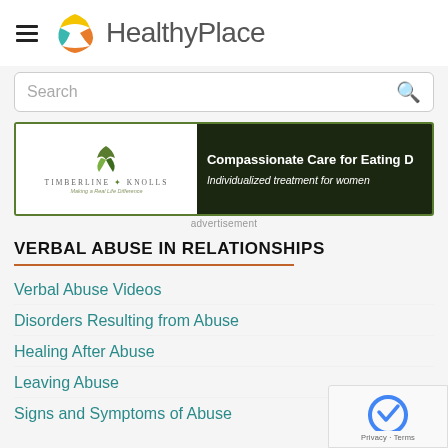HealthyPlace
[Figure (logo): HealthyPlace logo with circular sun/leaf icon and text 'HealthyPlace']
[Figure (screenshot): Timberline Knolls advertisement banner: left side white with logo, right side dark green with text 'Compassionate Care for Eating D...' and 'Individualized treatment for women']
advertisement
VERBAL ABUSE IN RELATIONSHIPS
Verbal Abuse Videos
Disorders Resulting from Abuse
Healing After Abuse
Leaving Abuse
Signs and Symptoms of Abuse